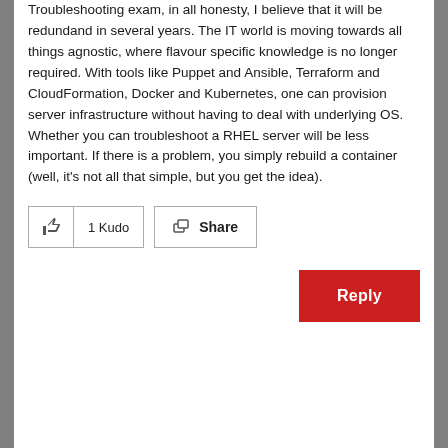Troubleshooting exam, in all honesty, I believe that it will be redundand in several years. The IT world is moving towards all things agnostic, where flavour specific knowledge is no longer required. With tools like Puppet and Ansible, Terraform and CloudFormation, Docker and Kubernetes, one can provision server infrastructure without having to deal with underlying OS. Whether you can troubleshoot a RHEL server will be less important. If there is a problem, you simply rebuild a container (well, it's not all that simple, but you get the idea).
[Figure (other): Kudo button with thumbs up icon and '1 Kudo' label, and a Share button with share icon]